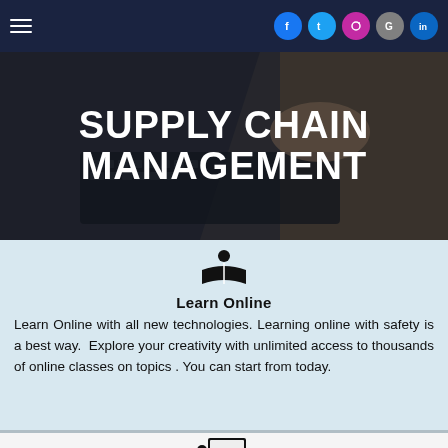Navigation bar with hamburger menu and social icons (Facebook, Twitter, Instagram, Google, LinkedIn)
SUPPLY CHAIN MANAGEMENT
Learn Online
Learn Online with all new technologies. Learning online with safety is a best way. Explore your creativity with unlimited access to thousands of online classes on topics . You can start from today.
Expert Teaching
We believe an expert teacher is an agent of outstanding learning and achievement. We have been recognized for delivering online learning